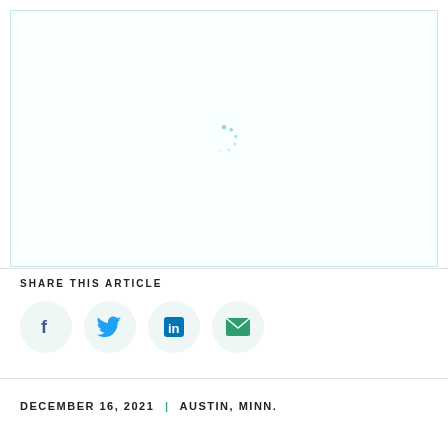[Figure (other): Loading spinner (circular dots in teal/light green color) centered in a bordered white box area]
SHARE THIS ARTICLE
[Figure (infographic): Four social media share buttons in circular light blue/teal background: Facebook (f), Twitter (bird), LinkedIn (in), Email (envelope icon)]
DECEMBER 16, 2021  |  AUSTIN, MINN.